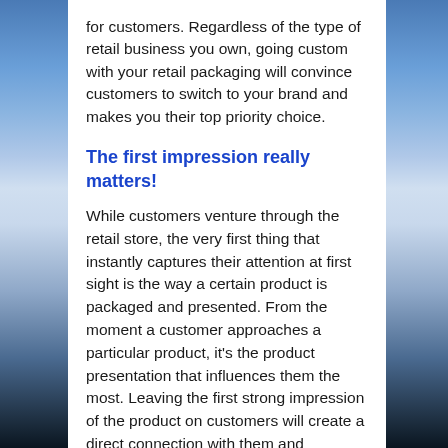for customers. Regardless of the type of retail business you own, going custom with your retail packaging will convince customers to switch to your brand and makes you their top priority choice.
The first impression really matters!
While customers venture through the retail store, the very first thing that instantly captures their attention at first sight is the way a certain product is packaged and presented. From the moment a customer approaches a particular product, it's the product presentation that influences them the most. Leaving the first strong impression of the product on customers will create a direct connection with them and encourage them for making a purchase. No matter which retail business you own, cast a first good impression on customers by designing the packaging boxes incorporating all the essential packaging elements that will definitely stun the audiences and makes your brand memorable to